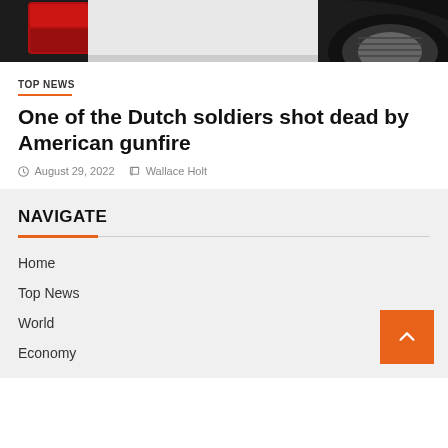[Figure (photo): Partial rear view of a white pickup truck showing red tail light and black tire on grey background]
TOP NEWS
One of the Dutch soldiers shot dead by American gunfire
August 29, 2022   Wallace Holt
NAVIGATE
Home
Top News
World
Economy